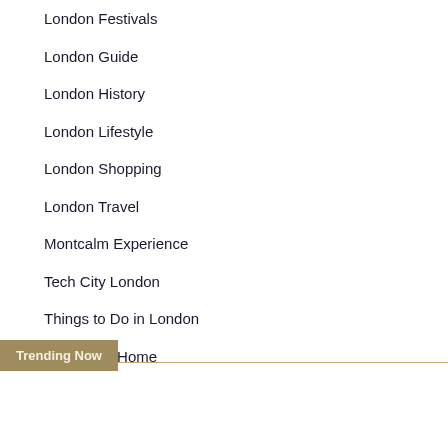London Festivals
London Guide
London History
London Lifestyle
London Shopping
London Travel
Montcalm Experience
Tech City London
Things to Do in London
Work from Home
Trending Now